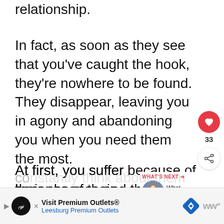relationship.
In fact, as soon as they see that you’ve caught the hook, they’re nowhere to be found. They disappear, leaving you in agony and abandoning you when you need them the most.
At first, you suffer because of their absence and the fact that they’re hot and cold. You miss them and
[Figure (infographic): Heart/like button (red circle with white heart icon) with count 33, and share button below]
[Figure (infographic): WHAT'S NEXT arrow label with thumbnail image and text 'What Conditional...']
[Figure (infographic): Advertisement banner: Visit Premium Outlets® Leesburg Premium Outlets with logo and navigation icon]